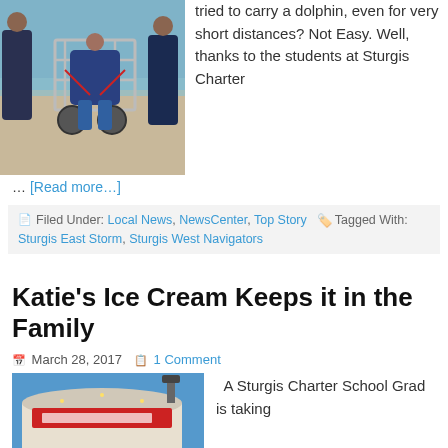[Figure (photo): People on a beach helping someone in a wheeled cart/chair device near the water]
tried to carry a dolphin, even for very short distances? Not Easy. Well, thanks to the students at Sturgis Charter
… [Read more…]
Filed Under: Local News, NewsCenter, Top Story    Tagged With: Sturgis East Storm, Sturgis West Navigators
Katie's Ice Cream Keeps it in the Family
March 28, 2017    1 Comment
[Figure (photo): Exterior photo of a building with a sign, blue sky in background]
A Sturgis Charter School Grad is taking